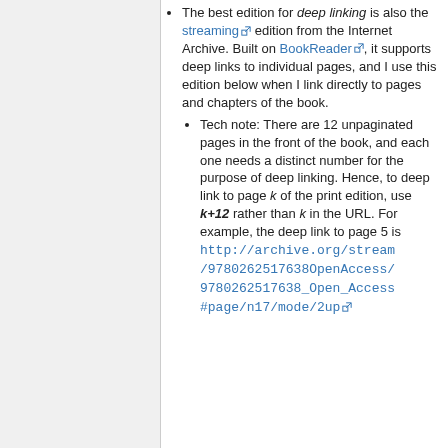The best edition for deep linking is also the streaming edition from the Internet Archive. Built on BookReader, it supports deep links to individual pages, and I use this edition below when I link directly to pages and chapters of the book.
Tech note: There are 12 unpaginated pages in the front of the book, and each one needs a distinct number for the purpose of deep linking. Hence, to deep link to page k of the print edition, use k+12 rather than k in the URL. For example, the deep link to page 5 is http://archive.org/stream/9780262517638OpenAccess/9780262517638_Open_Access#page/n17/mode/2up